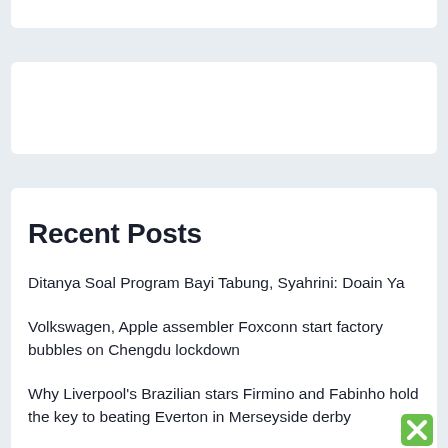Recent Posts
Ditanya Soal Program Bayi Tabung, Syahrini: Doain Ya
Volkswagen, Apple assembler Foxconn start factory bubbles on Chengdu lockdown
Why Liverpool's Brazilian stars Firmino and Fabinho hold the key to beating Everton in Merseyside derby